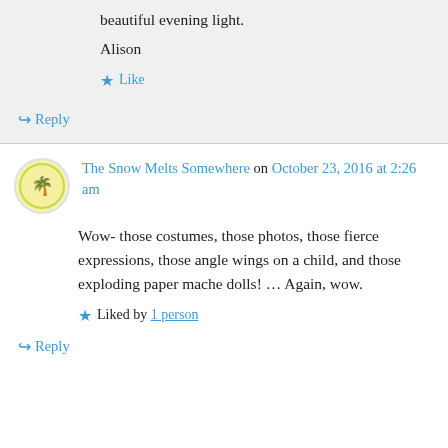beautiful evening light.
Alison
Like
↳ Reply
The Snow Melts Somewhere on October 23, 2016 at 2:26 am
Wow- those costumes, those photos, those fierce expressions, those angle wings on a child, and those exploding paper mache dolls! … Again, wow.
Liked by 1 person
↳ Reply